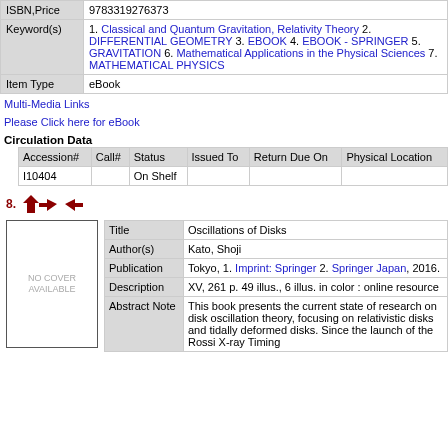| Field | Value |
| --- | --- |
| ISBN,Price | 9783319276373 |
| Keyword(s) | 1. Classical and Quantum Gravitation, Relativity Theory 2. DIFFERENTIAL GEOMETRY 3. EBOOK 4. EBOOK - SPRINGER 5. GRAVITATION 6. Mathematical Applications in the Physical Sciences 7. MATHEMATICAL PHYSICS |
| Item Type | eBook |
Multi-Media Links
Please Click here for eBook
Circulation Data
| Accession# | Call# | Status | Issued To | Return Due On | Physical Location |
| --- | --- | --- | --- | --- | --- |
| I10404 |  | On Shelf |  |  |  |
8.
[Figure (illustration): Navigation arrows: up arrow, left arrow, right arrow in dark red]
[Figure (illustration): Book cover placeholder with text NO COVER AVAILABLE]
| Field | Value |
| --- | --- |
| Title | Oscillations of Disks |
| Author(s) | Kato, Shoji |
| Publication | Tokyo, 1. Imprint: Springer 2. Springer Japan, 2016. |
| Description | XV, 261 p. 49 illus., 6 illus. in color : online resource |
| Abstract Note | This book presents the current state of research on disk oscillation theory, focusing on relativistic disks and tidally deformed disks. Since the launch of the Rossi X-ray Timing |